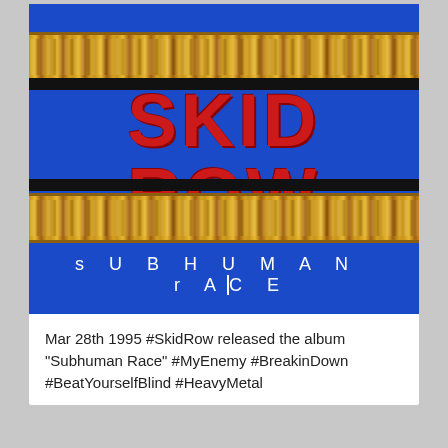[Figure (photo): Album cover of Skid Row's 'Subhuman Race' (1995). Blue background with two gold zipper/chain bands across top and bottom thirds. Large bold red text 'SKID ROW' in the middle between two black horizontal bars. Below the lower zipper: white spaced text 'sUBHUMAN rACE'.]
Mar 28th 1995 #SkidRow released the album "Subhuman Race" #MyEnemy #BreakinDown #BeatYourselfBlind #HeavyMetal